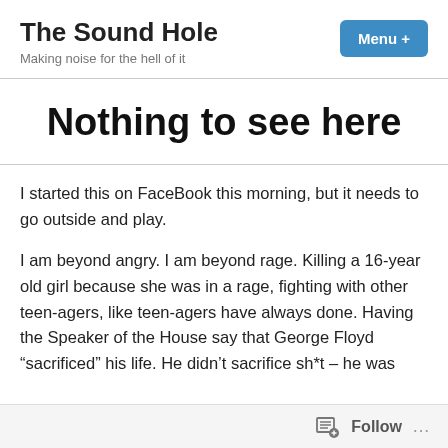The Sound Hole
Making noise for the hell of it
Nothing to see here
I started this on FaceBook this morning, but it needs to go outside and play.
I am beyond angry. I am beyond rage. Killing a 16-year old girl because she was in a rage, fighting with other teen-agers, like teen-agers have always done. Having the Speaker of the House say that George Floyd “sacrificed” his life. He didn’t sacrifice sh*t – he was
Follow …